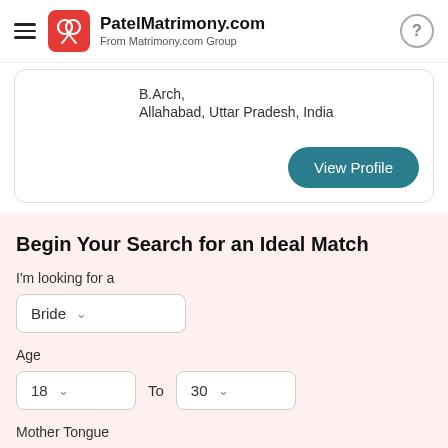PatelMatrimony.com From Matrimony.com Group
B.Arch,
Allahabad, Uttar Pradesh, India
View Profile
Begin Your Search for an Ideal Match
I'm looking for a
Bride
Age
18  To  30
Mother Tongue